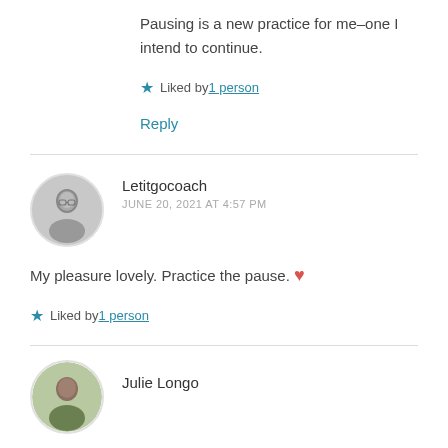Pausing is a new practice for me–one I intend to continue.
★ Liked by 1 person
Reply
Letitgocoach
JUNE 20, 2021 AT 4:57 PM
My pleasure lovely. Practice the pause. ❤
★ Liked by 1 person
[Figure (photo): Circular avatar photo of Letitgocoach in black and white]
Julie Longo
[Figure (photo): Circular avatar photo of Julie Longo, partially visible]